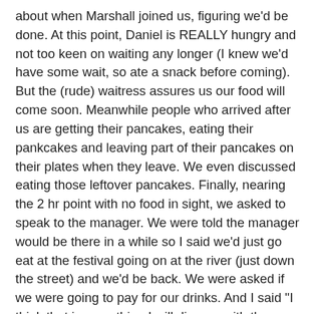about when Marshall joined us, figuring we'd be done. At this point, Daniel is REALLY hungry and not too keen on waiting any longer (I knew we'd have some wait, so ate a snack before coming). But the (rude) waitress assures us our food will come soon. Meanwhile people who arrived after us are getting their pancakes, eating their pankcakes and leaving part of their pancakes on their plates when they leave. We even discussed eating those leftover pancakes. Finally, nearing the 2 hr point with no food in sight, we asked to speak to the manager. We were told the manager would be there in a while so I said we'd just go eat at the festival going on at the river (just down the street) and we'd be back. We were asked if we were going to pay for our drinks. And I said "I think that is something I will discuss with the manager". Anyway, we got food at the festival and came back. Daniel wanted to practice his confrontational skills, so we let him do the talking. Suffice to say, we did not pay for our drinks nor will be back at NYC anytime soon...at least not until my cravings for a good hamburger overrule my better judgement.
We came back later that evening to go with Tracy and